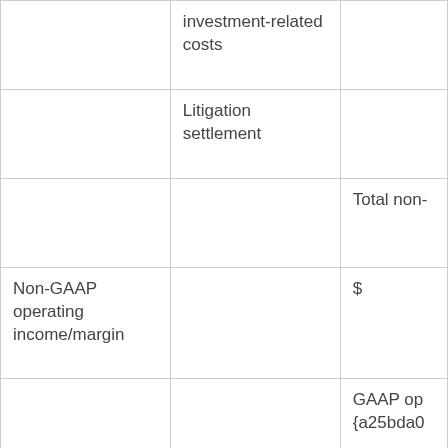|  | investment-related costs |  |
|  | Litigation settlement |  |
|  |  | Total non- |
| Non-GAAP operating income/margin |  | $ |
|  |  | GAAP op {a25bda0 |
|  |  | GA {a25bda0 |